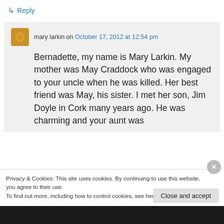↳ Reply
mary larkin on October 17, 2012 at 12:54 pm
Bernadette, my name is Mary Larkin. My mother was May Craddock who was engaged to your uncle when he was killed. Her best friend was May, his sister. I met her son, Jim Doyle in Cork many years ago. He was charming and your aunt was
Privacy & Cookies: This site uses cookies. By continuing to use this website, you agree to their use.
To find out more, including how to control cookies, see here: Cookie Policy
Close and accept